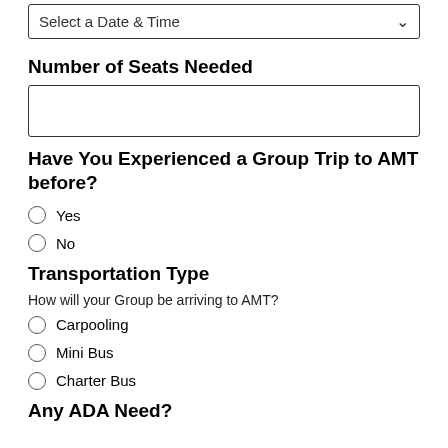Select a Date & Time
Number of Seats Needed
Have You Experienced a Group Trip to AMT before?
Yes
No
Transportation Type
How will your Group be arriving to AMT?
Carpooling
Mini Bus
Charter Bus
Any ADA Need?